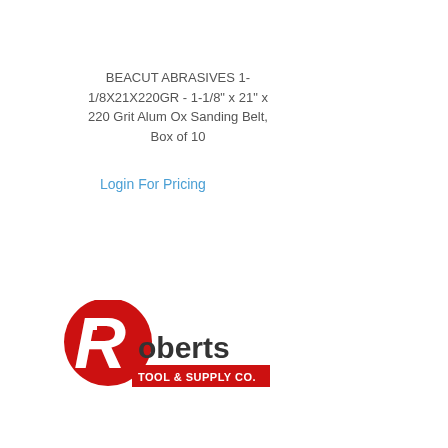BEACUT ABRASIVES 1-1/8X21X220GR - 1-1/8" x 21" x 220 Grit Alum Ox Sanding Belt, Box of 10
Login For Pricing
[Figure (logo): Roberts Tool & Supply Co. logo with large red R and red banner]